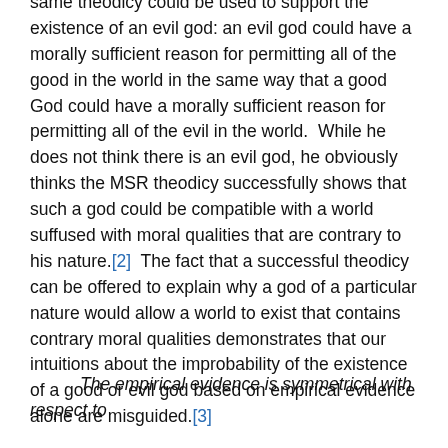same theodicy could be used to support the existence of an evil god: an evil god could have a morally sufficient reason for permitting all of the good in the world in the same way that a good God could have a morally sufficient reason for permitting all of the evil in the world.  While he does not think there is an evil god, he obviously thinks the MSR theodicy successfully shows that such a god could be compatible with a world suffused with moral qualities that are contrary to his nature.[2]  The fact that a successful theodicy can be offered to explain why a god of a particular nature would allow a world to exist that contains contrary moral qualities demonstrates that our intuitions about the improbability of the existence of a good or evil god based on empirical evidence alone are misguided.[3]
The empirical evidence is symmetrical with respect to